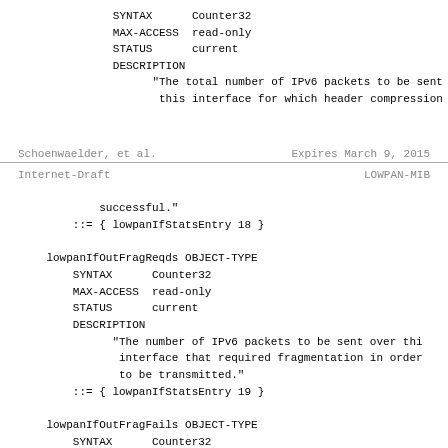SYNTAX      Counter32
        MAX-ACCESS  read-only
        STATUS      current
        DESCRIPTION
              "The total number of IPv6 packets to be sent ov
               this interface for which header compression wa
Schoenwaelder, et al.     Expires March 9, 2015
Internet-Draft                        LOWPAN-MIB
successful."
        ::= { lowpanIfStatsEntry 18 }

    lowpanIfOutFragReqds OBJECT-TYPE
        SYNTAX      Counter32
        MAX-ACCESS  read-only
        STATUS      current
        DESCRIPTION
              "The number of IPv6 packets to be sent over thi
               interface that required fragmentation in order
               to be transmitted."
        ::= { lowpanIfStatsEntry 19 }

    lowpanIfOutFragFails OBJECT-TYPE
        SYNTAX      Counter32